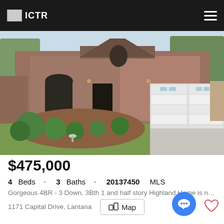ICTR
[Figure (photo): Exterior photo of a two-story brick Highland Home with two-car garage, landscaped front yard with trimmed bushes, concrete driveway]
$475,000
4 Beds · 3 Baths · 20137450 MLS
Gorgeous 4BR - 3 Down, 3Bth 1 and half story Highland Home is nes... tr...
1171 Capital Drive, Lantana